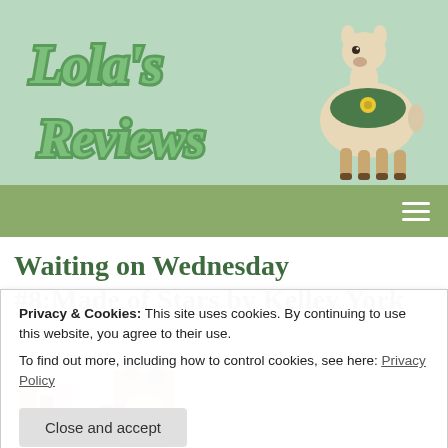[Figure (logo): Lola's Reviews blog header with green script text logo and illustrated llama/alpaca on light blue-green background]
Navigation bar with hamburger menu icon
Waiting on Wednesday #8:Made of Stars by Kelley York
Privacy & Cookies: This site uses cookies. By continuing to use this website, you agree to their use.
To find out more, including how to control cookies, see here: Privacy Policy
[Figure (illustration): Book cover image partially visible - illustration of a girl with blue/teal colors]
Close and accept